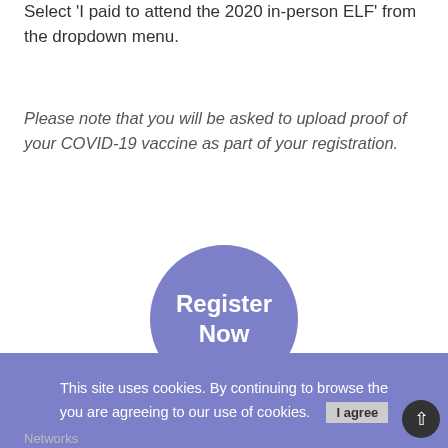Select 'I paid to attend the 2020 in-person ELF' from the dropdown menu.
Please note that you will be asked to upload proof of your COVID-19 vaccine as part of your registration.
[Figure (other): A large purple-blue circular button with white bold text reading 'Register Now']
2022 ELF
This site uses cookies. By continuing to browse the you are agreeing to our use of cookies. I agree Networks